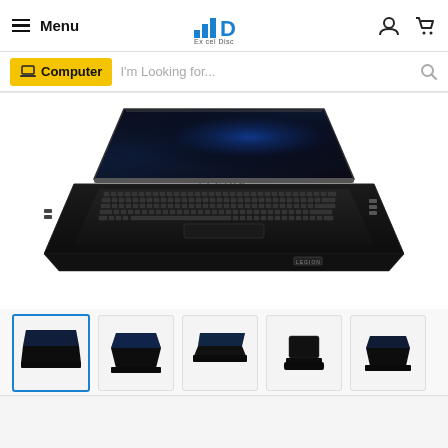Menu | Excel Disc | User icon | Cart icon
Computer | I'm Looking for...
[Figure (photo): Lenovo Legion gaming laptop open, viewed from front-left angle, with dark keyboard and blue glowing screen]
[Figure (photo): Thumbnail 1 (active/selected): Lenovo Legion laptop front view, small]
[Figure (photo): Thumbnail 2: Lenovo Legion laptop side-angle view]
[Figure (photo): Thumbnail 3: Lenovo Legion laptop open side view]
[Figure (photo): Thumbnail 4: Lenovo Legion laptop closed side view]
[Figure (photo): Thumbnail 5: Lenovo Legion laptop three-quarter view]